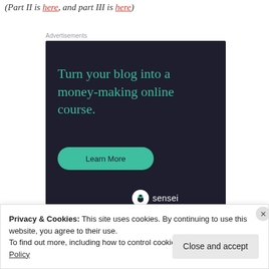(Part II is here, and part III is here)
Advertisements
[Figure (illustration): Sensei advertisement: dark background with teal text reading 'Turn your blog into a money-making online course.' with a teal 'Learn More' button and Sensei logo at bottom right.]
Privacy & Cookies: This site uses cookies. By continuing to use this website, you agree to their use.
To find out more, including how to control cookies, see here: Cookie Policy
Close and accept